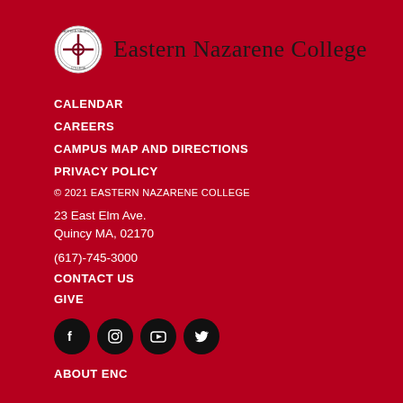[Figure (logo): Eastern Nazarene College logo with circular seal and college name in serif font]
CALENDAR
CAREERS
CAMPUS MAP AND DIRECTIONS
PRIVACY POLICY
© 2021 EASTERN NAZARENE COLLEGE
23 East Elm Ave.
Quincy MA, 02170
(617)-745-3000
CONTACT US
GIVE
[Figure (other): Social media icons: Facebook, Instagram, YouTube, Twitter — black circles with white icons]
ABOUT ENC